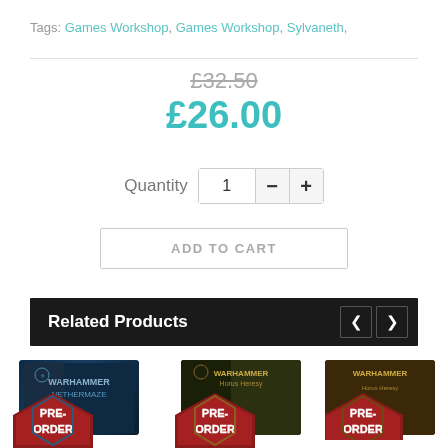Tags: Games Workshop, Games Workshop, Sylvaneth,
£32.50
£26.00
Quantity  1  —  +
ADD TO CART
Related Products
[Figure (screenshot): Warhammer Nethermaze product box with PRE-ORDER badge]
[Figure (screenshot): The Horus Heresy product box with PRE-ORDER badge]
[Figure (screenshot): The Horus Heresy product box with PRE-ORDER badge (partially visible)]
Warhammer
The Horus Heresy :
The Horus H